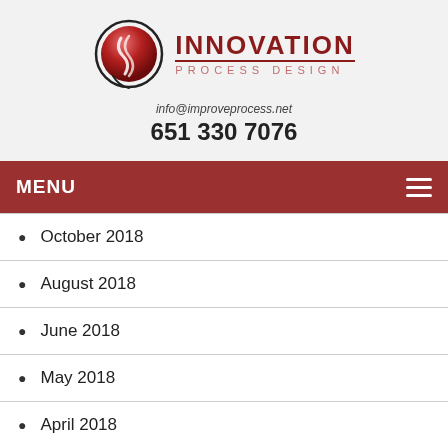[Figure (logo): Innovation Process Design logo with circular emblem and text]
info@improveprocess.net
651 330 7076
MENU
October 2018
August 2018
June 2018
May 2018
April 2018
March 2018